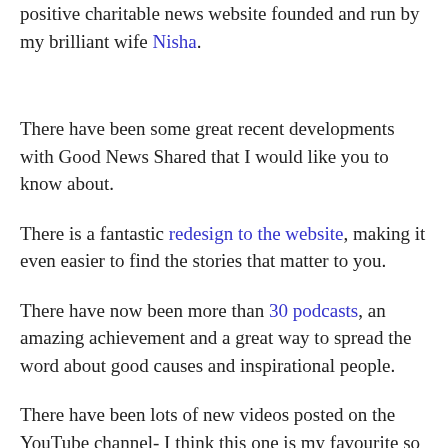positive charitable news website founded and run by my brilliant wife Nisha.
There have been some great recent developments with Good News Shared that I would like you to know about.
There is a fantastic redesign to the website, making it even easier to find the stories that matter to you.
There have now been more than 30 podcasts, an amazing achievement and a great way to spread the word about good causes and inspirational people.
There have been lots of new videos posted on the YouTube channel- I think this one is my favourite so far:
[Figure (screenshot): Dark video thumbnail at bottom of page]